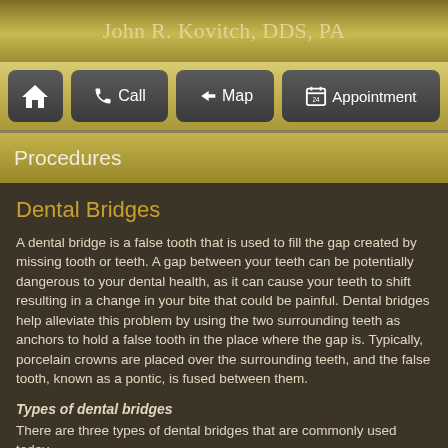John R. Kovitch, DDS, PA
[Figure (screenshot): Navigation bar with home, call, map, and appointment buttons]
Procedures
Dental Bridges
A dental bridge is a false tooth that is used to fill the gap created by missing tooth or teeth. A gap between your teeth can be potentially dangerous to your dental health, as it can cause your teeth to shift resulting in a change in your bite that could be painful. Dental bridges help alleviate this problem by using the two surrounding teeth as anchors to hold a false tooth in the place where the gap is. Typically, porcelain crowns are placed over the surrounding teeth, and the false tooth, known as a pontic, is fused between them.
Types of dental bridges
There are three types of dental bridges that are commonly used today
1. Traditional fixed bridge - This is the most common type of dental